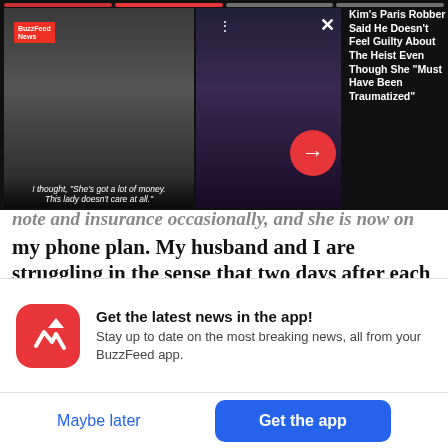[Figure (screenshot): BuzzFeed News video thumbnail showing a person on the left video and a woman in a yellow outfit on the right video with close and arrow buttons]
Kim's Paris Robber Said He Doesn't Feel Guilty About The Heist Even Though She "Must Have Been Traumatized"
note and insurance occasionally, and she is now on my phone plan. My husband and I are struggling in the sense that two days after each pay period, we might have $10 in the bank. We have no savings and if our car broke down we'd be in the shitter. His parents are comfortable, and we've been able to go
Get the latest news in the app! Stay up to date on the most breaking news, all from your BuzzFeed app.
Maybe later
Get the app